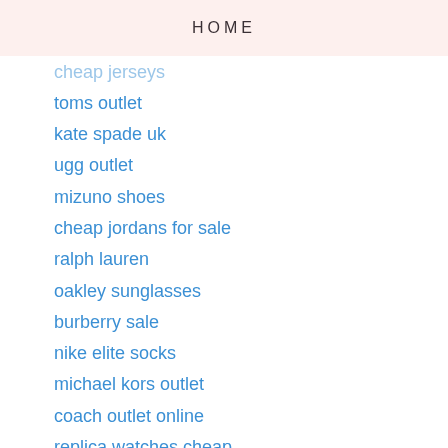HOME
cheap jerseys
toms outlet
kate spade uk
ugg outlet
mizuno shoes
cheap jordans for sale
ralph lauren
oakley sunglasses
burberry sale
nike elite socks
michael kors outlet
coach outlet online
replica watches cheap
fitflops sale clearance
longchamp pas cher
gucci outlet
black timberland boots
coach outlet store online
rolex watches
coach outlet